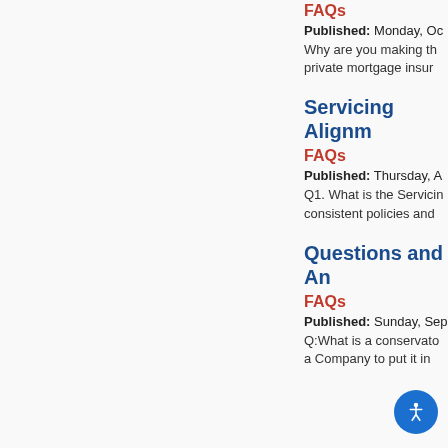FAQs
Published: Monday, Oc
Why are you making th private mortgage insur
Servicing Alignm
FAQs
Published: Thursday, A
Q1. What is the Servicin consistent policies and
Questions and An
FAQs
Published: Sunday, Sep
Q:What is a conservato a Company to put it in
[Figure (illustration): Blue circular accessibility icon button with white wheelchair/person symbol]